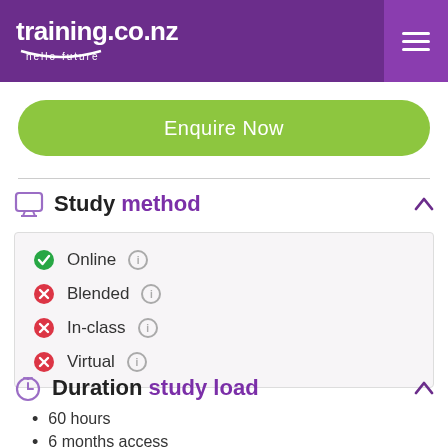training.co.nz hello future
Enquire Now
Study method
Online
Blended
In-class
Virtual
Duration study load
60 hours
6 months access